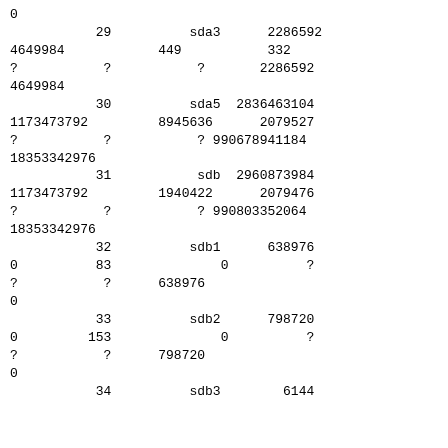| 0 |  |  |  |  |
|  | 29 |  | sda3 | 2286592 |
| 4649984 |  | 449 |  | 332 |
| ? | ? |  | ? | 2286592 |
| 4649984 |  |  |  |  |
|  | 30 |  | sda5 | 2836463104 |
| 1173473792 |  | 8945636 |  | 2079527 |
| ? | ? |  | ? | 990678941184 |
| 18353342976 |  |  |  |  |
|  | 31 |  | sdb | 2960873984 |
| 1173473792 |  | 1940422 |  | 2079476 |
| ? | ? |  | ? | 990803352064 |
| 18353342976 |  |  |  |  |
|  | 32 |  | sdb1 | 638976 |
| 0 | 83 |  | 0 | ? |
| ? | ? | 638976 |  |  |
| 0 |  |  |  |  |
|  | 33 |  | sdb2 | 798720 |
| 0 | 153 |  | 0 | ? |
| ? | ? | 798720 |  |  |
| 0 |  |  |  |  |
|  | 34 |  | sdb3 | 6144 |